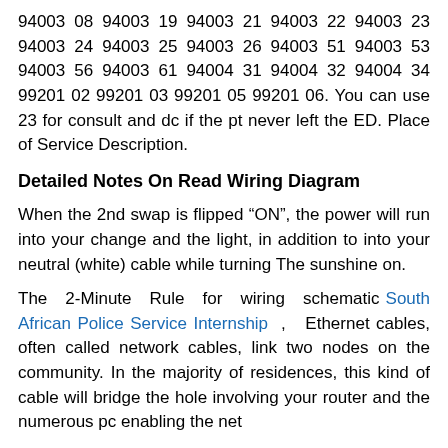94003 08 94003 19 94003 21 94003 22 94003 23 94003 24 94003 25 94003 26 94003 51 94003 53 94003 56 94003 61 94004 31 94004 32 94004 34 99201 02 99201 03 99201 05 99201 06. You can use 23 for consult and dc if the pt never left the ED. Place of Service Description.
Detailed Notes On Read Wiring Diagram
When the 2nd swap is flipped “ON”, the power will run into your change and the light, in addition to into your neutral (white) cable while turning The sunshine on.
The 2-Minute Rule for wiring schematic South African Police Service Internship , Ethernet cables, often called network cables, link two nodes on the community. In the majority of residences, this kind of cable will bridge the hole involving your router and the numerous pc enabling the net